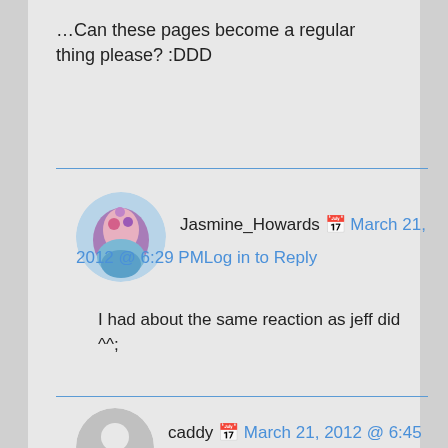…Can these pages become a regular thing please? :DDD
Jasmine_Howards  March 21, 2012 @ 6:29 PMLog in to Reply
I had about the same reaction as jeff did ^^;
caddy  March 21, 2012 @ 6:45 PMLog in to Reply